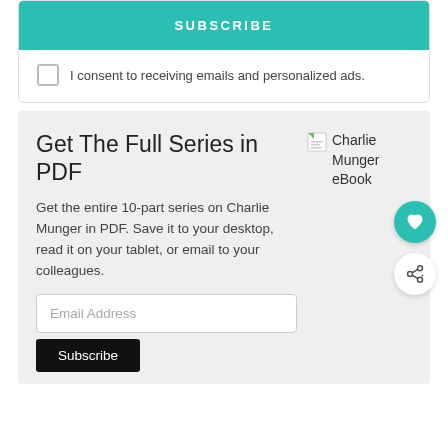SUBSCRIBE
I consent to receiving emails and personalized ads.
Get The Full Series in PDF
Get the entire 10-part series on Charlie Munger in PDF. Save it to your desktop, read it on your tablet, or email to your colleagues.
[Figure (other): Charlie Munger eBook cover image placeholder with broken image icon and alt text 'Charlie Munger eBook']
Email Address
Subscribe